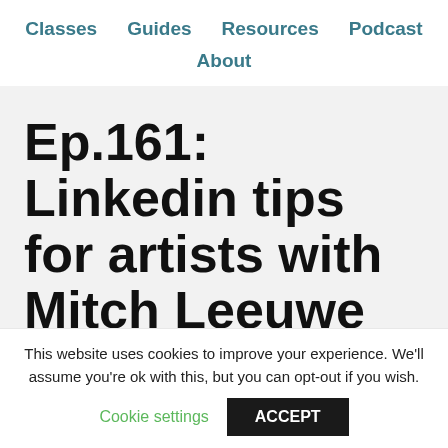Classes  Guides  Resources  Podcast  About
Ep.161: Linkedin tips for artists with Mitch Leeuwe
This website uses cookies to improve your experience. We'll assume you're ok with this, but you can opt-out if you wish.
Cookie settings  ACCEPT